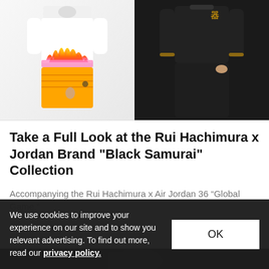[Figure (photo): Two models wearing Jordan Brand clothing — left model in white flame-print t-shirt with orange/yellow flames and orange shorts, right model in black sweatshirt and black sweatpants with gold accents]
Take a Full Look at the Rui Hachimura x Jordan Brand "Black Samurai" Collection
Accompanying the Rui Hachimura x Air Jordan 36 “Global Game.”
Fashion   May 24, 2022   🔥 15.7K   💬 2
[Figure (photo): Partial view of another article image, mostly dark/black background]
We use cookies to improve your experience on our site and to show you relevant advertising. To find out more, read our privacy policy.